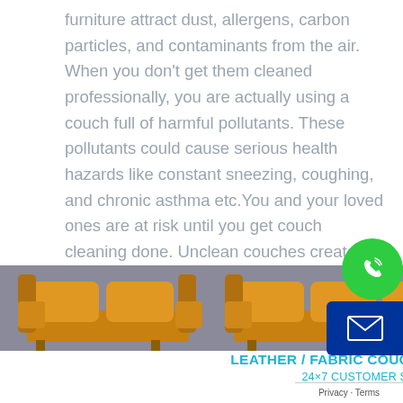furniture attract dust, allergens, carbon particles, and contaminants from the air. When you don't get them cleaned professionally, you are actually using a couch full of harmful pollutants. These pollutants could cause serious health hazards like constant sneezing, coughing, and chronic asthma etc.You and your loved ones are at risk until you get couch cleaning done. Unclean couches create unhealthy atmosphere at home and office. Bring a breath of fresh air with result-oriented couch cleaning services by Couch Cleaning Erina Fair today!
[Figure (photo): Two tan/orange leather sofas side by side against a grey background]
LEATHER / FABRIC COUCH CLEANING PROTECTION
24×7 CUSTOMER SERVICE 1300-362-619